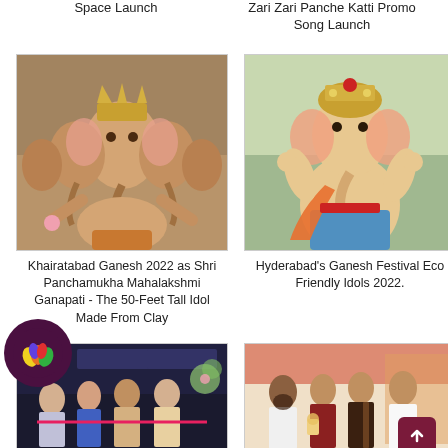Space Launch
Zari Zari Panche Katti Promo Song Launch
[Figure (photo): Khairatabad Ganesh 2022 - Shri Panchamukha Mahalakshmi Ganapati idol, a five-faced Ganesha statue, very large, made from clay]
[Figure (photo): Hyderabad Ganesh Festival Eco Friendly Idol 2022 - Ganesha idol with colorful decorations]
Khairatabad Ganesh 2022 as Shri Panchamukha Mahalakshmi Ganapati - The 50-Feet Tall Idol Made From Clay
Hyderabad's Ganesh Festival Eco Friendly Idols 2022.
[Figure (photo): People posing at a salon or beauty store launch event with a ribbon cutting ceremony]
[Figure (photo): Group of people posing at what appears to be a food or beverage event]